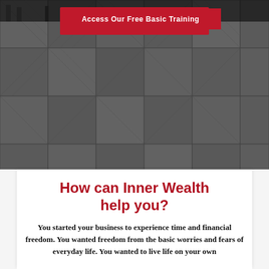[Figure (photo): Overhead view of gray/dark patterned carpet tiles in an office or commercial setting, with some office chairs/furniture partially visible at top]
Access Our Free Basic Training
How can Inner Wealth help you?
You started your business to experience time and financial freedom. You wanted freedom from the basic worries and fears of everyday life. You wanted to live life on your own